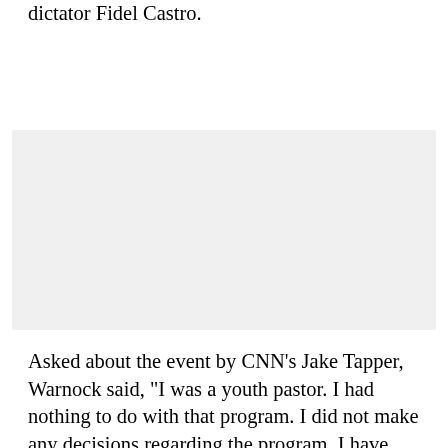dictator Fidel Castro.
[Figure (other): Gray placeholder/advertisement box]
Asked about the event by CNN’s Jake Tapper, Warnock said, “I was a youth pastor. I had nothing to do with that program. I did not make any decisions regarding the program. I have never met the Cuban dictator, and so I’m not connected to him.” Pressed on the whether he understood “why people would be appalled by anyone celebrating Fidel Castro,” Warnock said, “Well, absolutely. And I never have. What I’m putting forward in this race is American